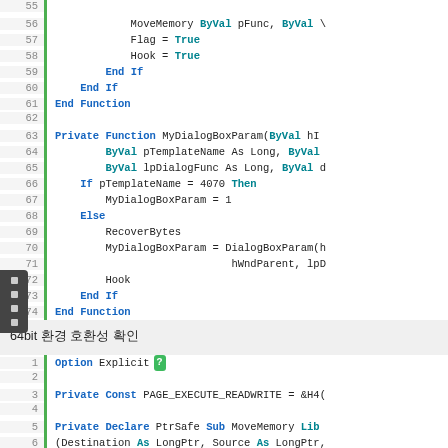[Figure (screenshot): Code editor screenshot showing Visual Basic code lines 55-74 with line numbers, green vertical bar, syntax highlighting (blue keywords: Private, Function, ByVal, End, If, Else, Then), and a dark sidebar with navigation dots.]
64bit 환경 호환성 확인
[Figure (screenshot): Code editor screenshot showing Visual Basic code lines 1-6 with Option Explicit, Private Const PAGE_EXECUTE_READWRITE, Private Declare PtrSafe Sub MoveMemory, with a green question mark badge on line 1.]